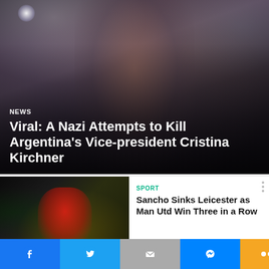[Figure (photo): Hero news image: woman waving to crowd at night event, surrounded by photographers with camera flashes]
NEWS
Viral: A Nazi Attempts to Kill Argentina's Vice-president Cristina Kirchner
[Figure (photo): Football player in red Manchester United kit running on pitch]
SPORT
Sancho Sinks Leicester as Man Utd Win Three in a Row
[Figure (photo): Purple background with pen and notebook — business lifestyle image]
BUSINESS
Quiet Quitting: Unsubscribing From The Hustle Culture?
NEXT ARTICLE >